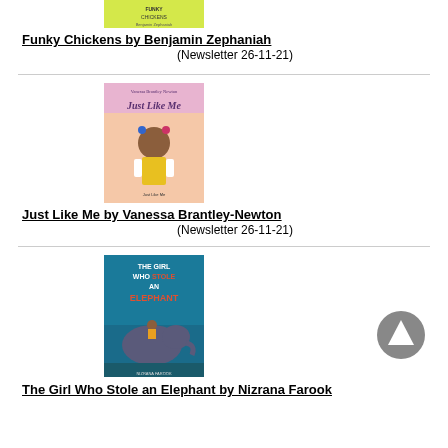[Figure (illustration): Book cover of Funky Chickens by Benjamin Zephaniah (partially visible at top)]
Funky Chickens by Benjamin Zephaniah
(Newsletter 26-11-21)
[Figure (illustration): Book cover of Just Like Me by Vanessa Brantley-Newton showing a young girl with curly hair]
Just Like Me by Vanessa Brantley-Newton
(Newsletter 26-11-21)
[Figure (illustration): Book cover of The Girl Who Stole an Elephant by Nizrana Farook showing a girl on an elephant]
The Girl Who Stole an Elephant by Nizrana Farook
[Figure (other): Up arrow navigation circle button]